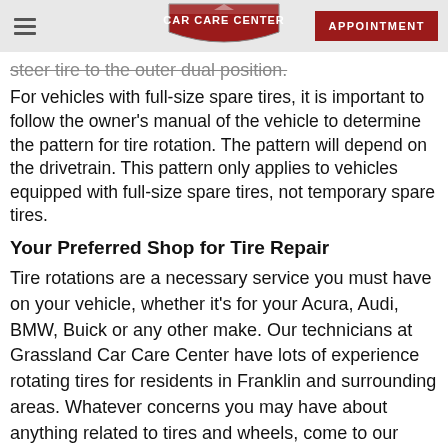CAR CARE CENTER | APPOINTMENT
steer tire to the outer dual position.
For vehicles with full-size spare tires, it is important to follow the owner's manual of the vehicle to determine the pattern for tire rotation. The pattern will depend on the drivetrain. This pattern only applies to vehicles equipped with full-size spare tires, not temporary spare tires.
Your Preferred Shop for Tire Repair
Tire rotations are a necessary service you must have on your vehicle, whether it's for your Acura, Audi, BMW, Buick or any other make. Our technicians at Grassland Car Care Center have lots of experience rotating tires for residents in Franklin and surrounding areas. Whatever concerns you may have about anything related to tires and wheels, come to our shop. When the time comes to